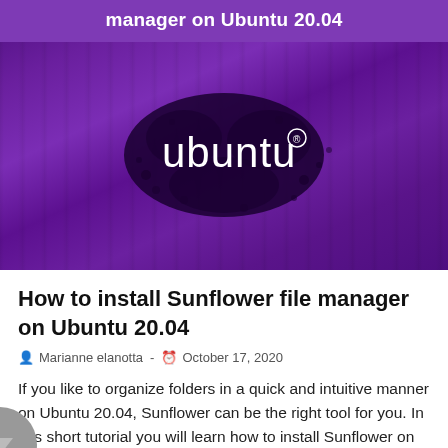[Figure (illustration): Ubuntu logo on a purple background with ink splat design. Header banner at top reads 'manager on Ubuntu 20.04' in white bold text on a purple strip.]
How to install Sunflower file manager on Ubuntu 20.04
Marianne elanotta  -  October 17, 2020
If you like to organize folders in a quick and intuitive manner on Ubuntu 20.04, Sunflower can be the right tool for you. In this short tutorial you will learn how to install Sunflower on Ubuntu 20.04 and similar distros. (more...)